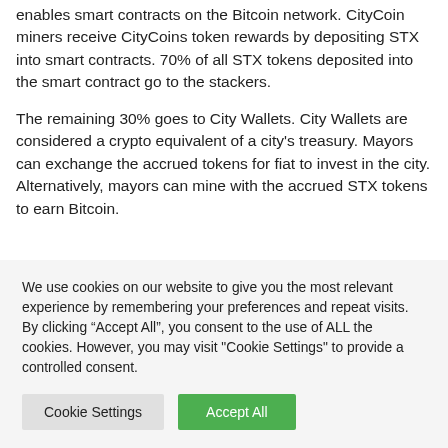enables smart contracts on the Bitcoin network. CityCoin miners receive CityCoins token rewards by depositing STX into smart contracts. 70% of all STX tokens deposited into the smart contract go to the stackers.
The remaining 30% goes to City Wallets. City Wallets are considered a crypto equivalent of a city's treasury. Mayors can exchange the accrued tokens for fiat to invest in the city. Alternatively, mayors can mine with the accrued STX tokens to earn Bitcoin.
We use cookies on our website to give you the most relevant experience by remembering your preferences and repeat visits. By clicking “Accept All”, you consent to the use of ALL the cookies. However, you may visit "Cookie Settings" to provide a controlled consent.